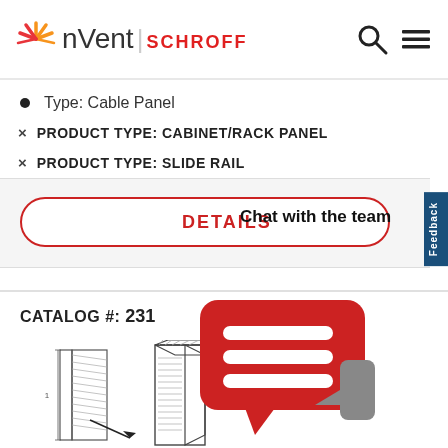[Figure (logo): nVent SCHROFF logo with sunburst icon, search and menu icons in header]
Type: Cable Panel
× PRODUCT TYPE: CABINET/RACK PANEL
× PRODUCT TYPE: SLIDE RAIL
DETAILS  Chat with the team
CATALOG #: 231
[Figure (engineering-diagram): Slide rail / cabinet rack panel engineering diagram showing slide rail components from multiple views]
[Figure (illustration): Red chat bubble icon with three horizontal white lines overlaying the page]